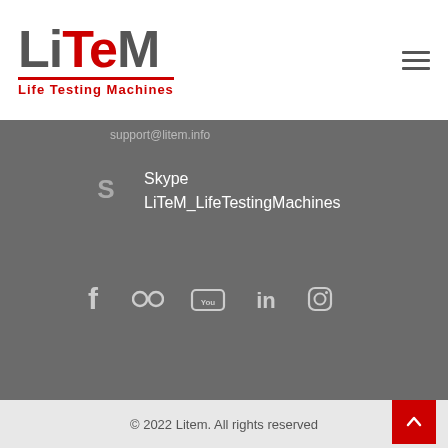[Figure (logo): LiTeM Life Testing Machines logo — bold text logo with red 'Te' letters and red underline with 'Life Testing Machines' subtitle]
support@litem.info
Skype
LiTeM_LifeTestingMachines
[Figure (illustration): Social media icons: Facebook, Flickr, YouTube, LinkedIn, Instagram]
© 2022 Litem. All rights reserved